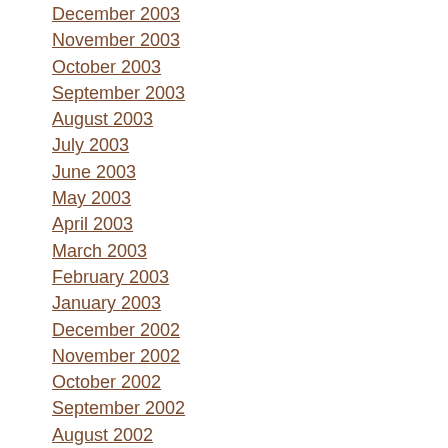December 2003
November 2003
October 2003
September 2003
August 2003
July 2003
June 2003
May 2003
April 2003
March 2003
February 2003
January 2003
December 2002
November 2002
October 2002
September 2002
August 2002
July 2002
June 2002